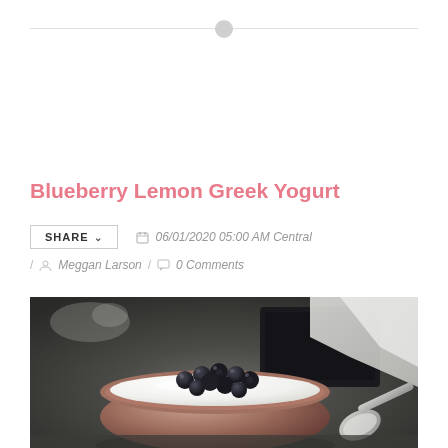Blueberry Lemon Greek Yogurt
SHARE ▾  📅 06/01/2020 05:00 AM Central
/ 👤 Meggan Larson / 💬 0 Comments
[Figure (photo): A rustic ceramic bowl filled with white Greek yogurt topped with fresh blueberries, with a metal spoon and white cloth visible on a dark background.]